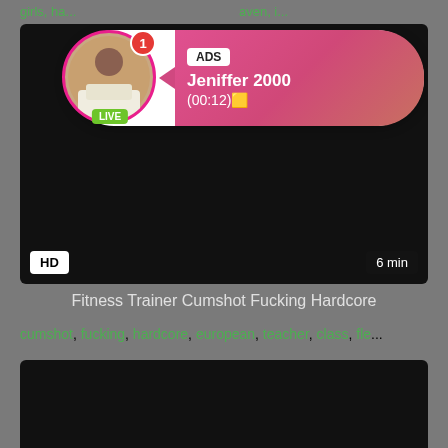girls, ha... aven, i...
[Figure (screenshot): Video thumbnail with black background showing HD badge and 6 min duration, with an ad popup overlay showing a live user named Jeniffer 2000]
Fitness Trainer Cumshot Fucking Hardcore
cumshot, fucking, hardcore, european, teacher, class, fle...
[Figure (screenshot): Second video thumbnail with black background, partially visible]